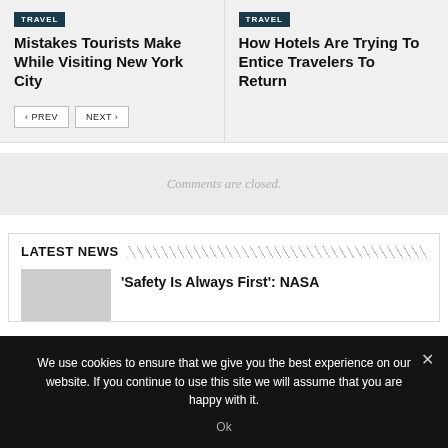TRAVEL
Mistakes Tourists Make While Visiting New York City
TRAVEL
How Hotels Are Trying To Entice Travelers To Return
‹ PREV   NEXT ›
Comments are closed.
LATEST NEWS
'Safety Is Always First': NASA
We use cookies to ensure that we give you the best experience on our website. If you continue to use this site we will assume that you are happy with it.
Ok